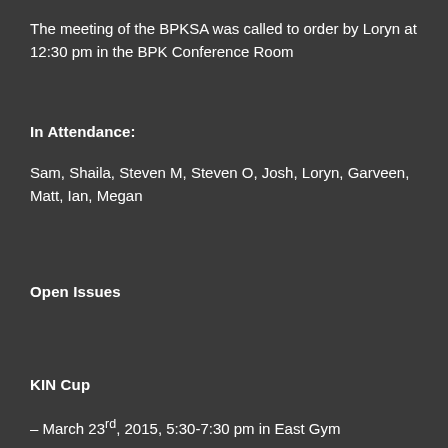The meeting of the BPKSA was called to order by Loryn at 12:30 pm in the BPK Conference Room
In Attendance:
Sam, Shaila, Steven M, Steven O, Josh, Loryn, Garveen, Matt, Ian, Megan
Open Issues
KIN Cup
– March 23rd, 2015, 5:30-7:30 pm in East Gym